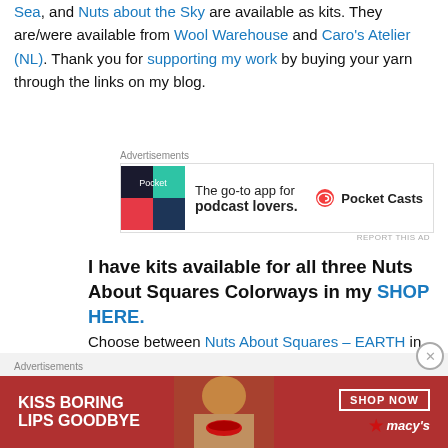Sea, and Nuts about the Sky are available as kits. They are/were available from Wool Warehouse and Caro's Atelier (NL). Thank you for supporting my work by buying your yarn through the links on my blog.
[Figure (screenshot): Pocket Casts advertisement: 'The go-to app for podcast lovers.' with colorful app icon and Pocket Casts logo]
I have kits available for all three Nuts About Squares Colorways in my SHOP HERE. Choose between Nuts About Squares – EARTH in Scheepjes Stone Washed, Nuts About Squares – SEA in Scheepjes Colour Crafter,
[Figure (screenshot): Macy's advertisement: 'KISS BORING LIPS GOODBYE' with SHOP NOW button and Macy's star logo, red background with woman's face]